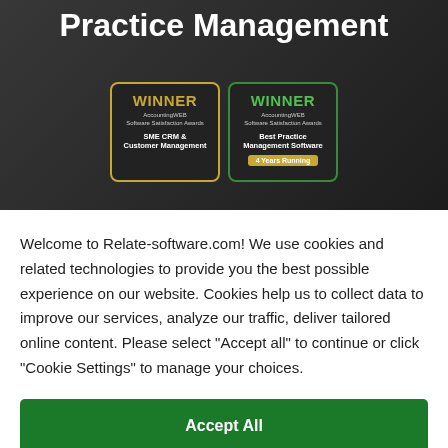[Figure (screenshot): Hero banner showing 'Practice Management' heading on dark background with two award badges: WINNER - AccountingWEB Software Satisfaction Awards - SME CRM & Customer Management, and WINNER - AccountingWEB Software Satisfaction Awards - Best Practice Management Software (4 Years Running)]
Welcome to Relate-software.com! We use cookies and related technologies to provide you the best possible experience on our website. Cookies help us to collect data to improve our services, analyze our traffic, deliver tailored online content. Please select "Accept all" to continue or click “Cookie Settings” to manage your choices.
Accept All
Customize